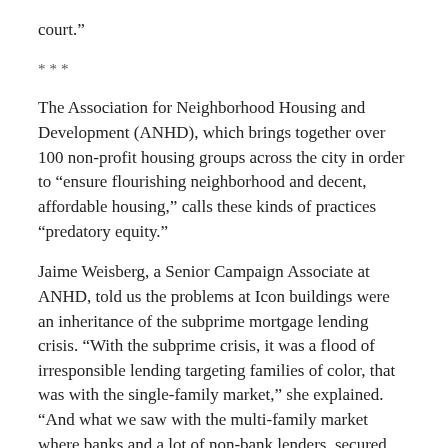court.”
***
The Association for Neighborhood Housing and Development (ANHD), which brings together over 100 non-profit housing groups across the city in order to “ensure flourishing neighborhood and decent, affordable housing,” calls these kinds of practices “predatory equity.”
Jaime Weisberg, a Senior Campaign Associate at ANHD, told us the problems at Icon buildings were an inheritance of the subprime mortgage lending crisis. “With the subprime crisis, it was a flood of irresponsible lending targeting families of color, that was with the single-family market,” she explained. “And what we saw with the multi-family market where banks and a lot of non-bank lenders, secured hedges and what-not, were putting massive amounts of debt on rent-regulated buildings with more affordable rent and they just weren’t sustainable.”